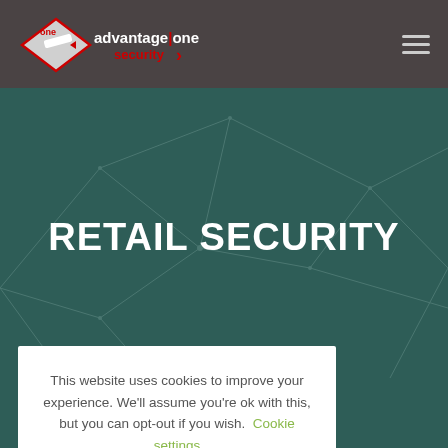[Figure (logo): Advantage One Security logo with diamond shape and red/white text]
[Figure (illustration): Teal/dark green hero background with geometric wireframe network lines]
RETAIL SECURITY
This website uses cookies to improve your experience. We'll assume you're ok with this, but you can opt-out if you wish. Cookie settings ACCEPT